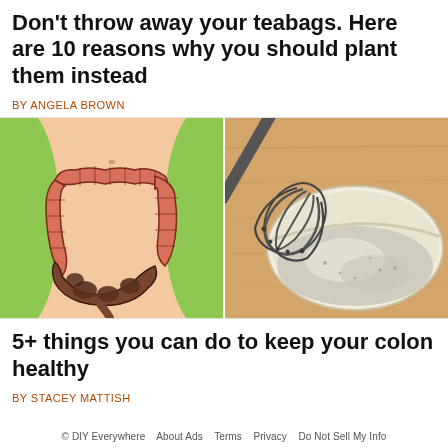Don't throw away your teabags. Here are 10 reasons why you should plant them instead
BY ANGELA BROWN
[Figure (illustration): Left side: Medical illustration of a human abdomen showing the large intestine/colon with dark blockage segments. Right side: Illustration of a whisk in a bowl with a white/grey mixture, on a wooden surface.]
5+ things you can do to keep your colon healthy
BY STACEY MATTISH
© DIY Everywhere   About Ads   Terms   Privacy   Do Not Sell My Info